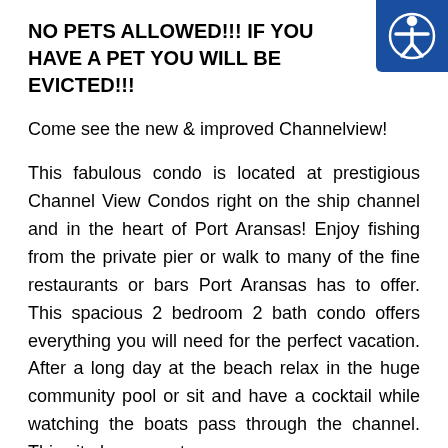NO PETS ALLOWED!!! IF YOU HAVE A PET YOU WILL BE EVICTED!!!
Come see the new & improved Channelview!
This fabulous condo is located at prestigious Channel View Condos right on the ship channel and in the heart of Port Aransas! Enjoy fishing from the private pier or walk to many of the fine restaurants or bars Port Aransas has to offer. This spacious 2 bedroom 2 bath condo offers everything you will need for the perfect vacation. After a long day at the beach relax in the huge community pool or sit and have a cocktail while watching the boats pass through the channel. This site has more to come...
[Figure (logo): Accessibility icon — white person figure in circle on blue square background, top-right corner]